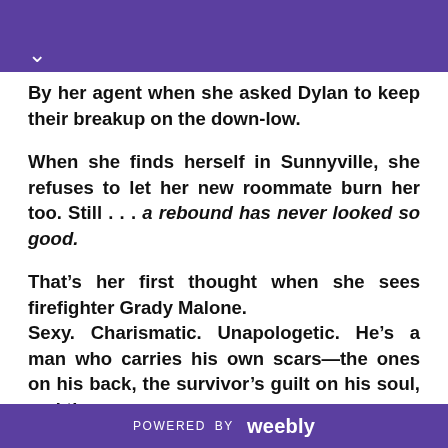By her agent when she asked Dylan to keep their breakup on the down-low.
When she finds herself in Sunnyville, she refuses to let her new roommate burn her too. Still . . . a rebound has never looked so good.
That’s her first thought when she sees firefighter Grady Malone.
Sexy. Charismatic. Unapologetic. He’s a man who carries his own scars—the ones on his back, the survivor’s guilt on his soul, and the
POWERED BY weebly